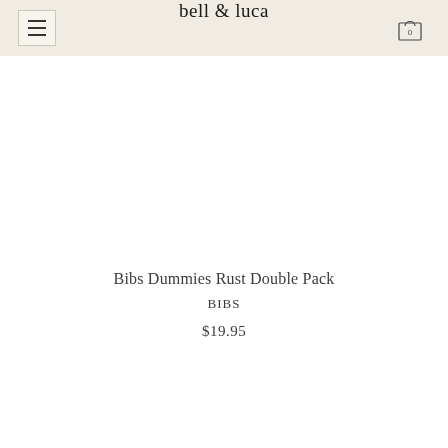bell & luca
[Figure (photo): Product image area – white/blank space for product photo of Bibs Dummies Rust Double Pack]
Bibs Dummies Rust Double Pack
BIBS
$19.95